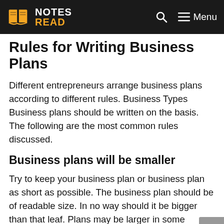NOTES READ | Menu
Rules for Writing Business Plans
Different entrepreneurs arrange business plans according to different rules. Business Types Business plans should be written on the basis. The following are the most common rules discussed.
Business plans will be smaller
Try to keep your business plan or business plan as short as possible. The business plan should be of readable size. In no way should it be bigger than that leaf. Plans may be larger in some business areas, such as parks